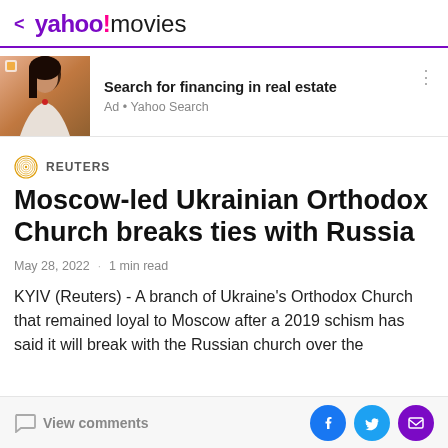< yahoo!movies
[Figure (infographic): Advertisement banner with photo of a woman and text 'Search for financing in real estate', Ad · Yahoo Search]
REUTERS
Moscow-led Ukrainian Orthodox Church breaks ties with Russia
May 28, 2022 · 1 min read
KYIV (Reuters) - A branch of Ukraine's Orthodox Church that remained loyal to Moscow after a 2019 schism has said it will break with the Russian church over the
View comments